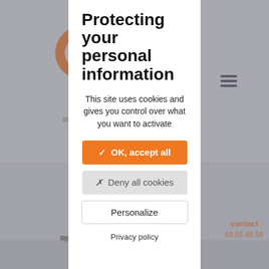[Figure (screenshot): Blurred background of a French website with orange logo, navigation, and page content partially visible behind a modal overlay]
Protecting your personal information
This site uses cookies and gives you control over what you want to activate
✓ OK, accept all
✗ Deny all cookies
Personalize
Privacy policy